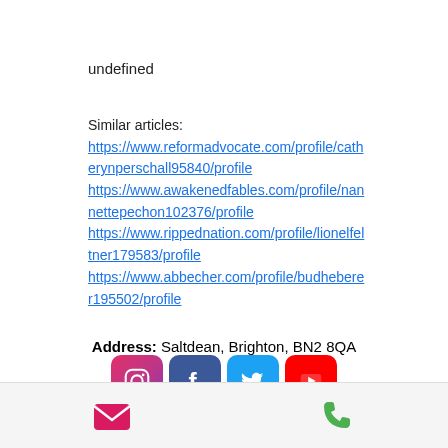undefined
Similar articles:
https://www.reformadvocate.com/profile/catherynperschall95840/profile
https://www.awakenedfables.com/profile/nannettepechon102376/profile
https://www.rippednation.com/profile/lionelfeltner179583/profile
https://www.abbecher.com/profile/budheberer195502/profile
[Figure (other): Social media icons: Instagram, Facebook, Twitter, YouTube]
EMAIL: RACHELDECOCK@ICLOUD.COM
Phone: 07791 210547
Address: Saltdean, Brighton, BN2 8QA
[Figure (other): Footer bar with email and phone icons]